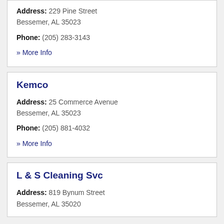Address: 229 Pine Street Bessemer, AL 35023
Phone: (205) 283-3143
» More Info
Kemco
Address: 25 Commerce Avenue Bessemer, AL 35023
Phone: (205) 881-4032
» More Info
L & S Cleaning Svc
Address: 819 Bynum Street Bessemer, AL 35020